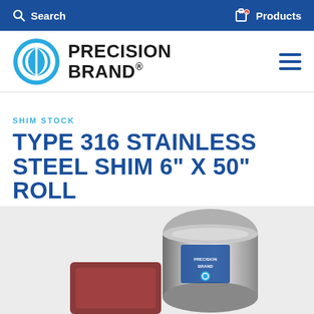Search   Products
[Figure (logo): Precision Brand logo with circular blue emblem and bold black text reading PRECISION BRAND.]
SHIM STOCK
TYPE 316 STAINLESS STEEL SHIM 6" X 50" ROLL
[Figure (photo): Photo of a stainless steel shim stock roll with Precision Brand label, partially unrolled, showing metallic silver finish.]